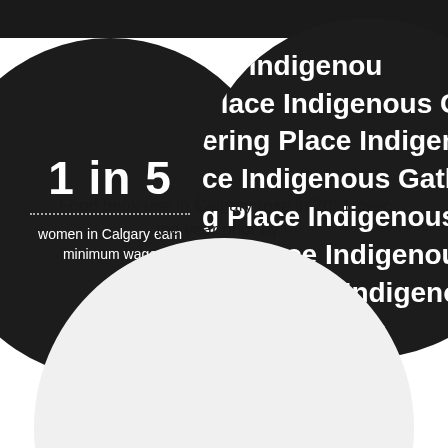[Figure (infographic): Dark circle on left with stat '1 in 5' and text 'women in Calgary earn minimum wage']
[Figure (infographic): Dark circle on right filled with repeating text 'Indigenous Gathering Place']
Food bank use in Calgary rose in 2021 over the year prior by...